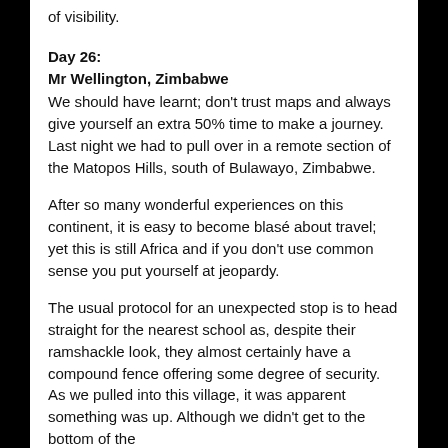of visibility.
Day 26:
Mr Wellington, Zimbabwe
We should have learnt; don't trust maps and always give yourself an extra 50% time to make a journey. Last night we had to pull over in a remote section of the Matopos Hills, south of Bulawayo, Zimbabwe.
After so many wonderful experiences on this continent, it is easy to become blasé about travel; yet this is still Africa and if you don't use common sense you put yourself at jeopardy.
The usual protocol for an unexpected stop is to head straight for the nearest school as, despite their ramshackle look, they almost certainly have a compound fence offering some degree of security. As we pulled into this village, it was apparent something was up. Although we didn't get to the bottom of the